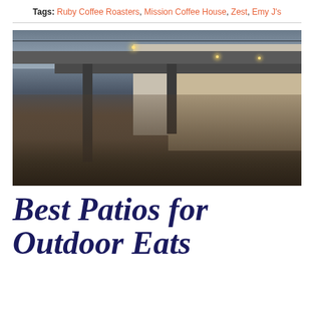Tags: Ruby Coffee Roasters, Mission Coffee House, Zest, Emy J's
[Figure (photo): Outdoor patio scene at dusk with people dining under a covered porch with string lights. A modern building with brick walls and dark metal columns is visible in the background.]
Best Patios for Outdoor Eats